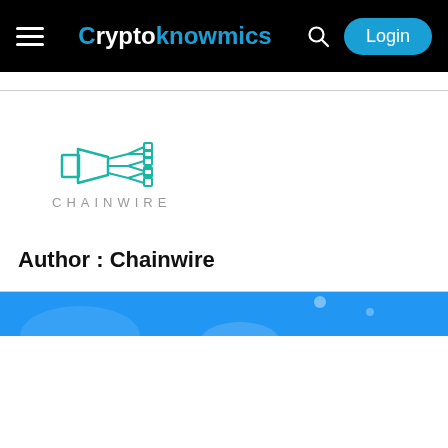Cryptoknowmics — Login
[Figure (logo): Chainwire logo: teal circuit/megaphone icon above the text CHAINWIRE in spaced gray uppercase letters]
Author : Chainwire
[Figure (photo): Partial blue image visible at the bottom of the page]